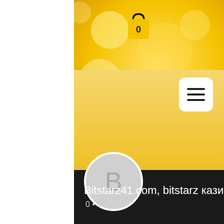[Figure (screenshot): Screenshot of a YouTube channel page for 'Bitstarz41.com, bitstarz кази...' with a bokeh golden/orange background image, shopping bag icon with 0, hamburger menu button, yellow banner, circular avatar with letter B, an outlined button and three-dot menu, channel name in white text on dark background, and subscriber/video counts showing 0 • 0]
Bitstarz41.com, bitstarz кази...
0 • 0